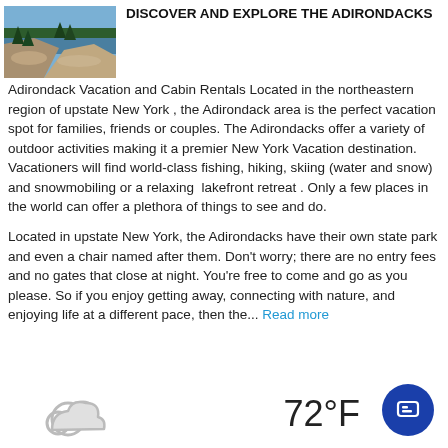[Figure (photo): Aerial or elevated view of Adirondack landscape showing rocky outcrops, evergreen trees, and lake/water in background under blue sky.]
DISCOVER AND EXPLORE THE ADIRONDACKS
Adirondack Vacation and Cabin Rentals Located in the northeastern region of upstate New York , the Adirondack area is the perfect vacation spot for families, friends or couples. The Adirondacks offer a variety of outdoor activities making it a premier New York Vacation destination.  Vacationers will find world-class fishing, hiking, skiing (water and snow) and snowmobiling or a relaxing  lakefront retreat . Only a few places in the world can offer a plethora of things to see and do.
Located in upstate New York, the Adirondacks have their own state park and even a chair named after them. Don't worry; there are no entry fees and no gates that close at night. You're free to come and go as you please. So if you enjoy getting away, connecting with nature, and enjoying life at a different pace, then the... Read more
[Figure (illustration): Weather icon showing a cloud (partly cloudy symbol).]
72°F